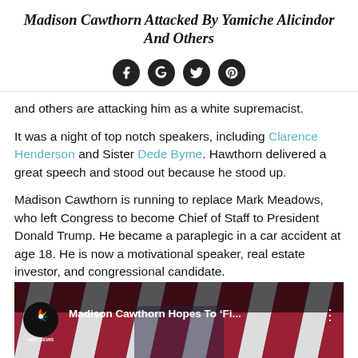Madison Cawthorn Attacked By Yamiche Alicindor And Others
[Figure (infographic): Social media share icons: Facebook, Google+, Twitter, Pinterest — dark circular buttons]
and others are attacking him as a white supremacist.
It was a night of top notch speakers, including Clarence Henderson and Sister Dede Byme. Hawthorn delivered a great speech and stood out because he stood up.
Madison Cawthorn is running to replace Mark Meadows, who left Congress to become Chief of Staff to President Donald Trump. He became a paraplegic in a car accident at age 18. He is now a motivational speaker, real estate investor, and congressional candidate.
If you didn't get a chance to see the speech by Madison Cawthorn, here it is in full:
[Figure (screenshot): NBC News video thumbnail showing 'Madison Cawthorn Hopes To Fi...' with NBC News logo and a person in a suit in front of American flags]